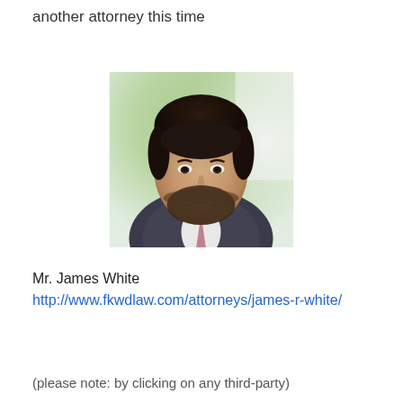another attorney this time
[Figure (photo): Professional headshot of Mr. James White, a man in a suit with a beard, smiling, against a blurred green outdoor background]
Mr. James White http://www.fkwdlaw.com/attorneys/james-r-white/
(please note: by clicking on any third-party)